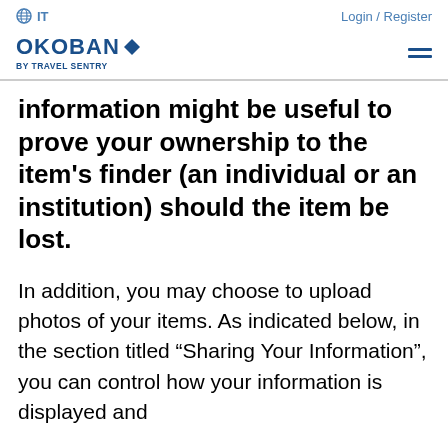IT   Login / Register
[Figure (logo): Okoban by Travel Sentry logo with diamond icon]
information might be useful to prove your ownership to the item's finder (an individual or an institution) should the item be lost.
In addition, you may choose to upload photos of your items. As indicated below, in the section titled “Sharing Your Information”, you can control how your information is displayed and